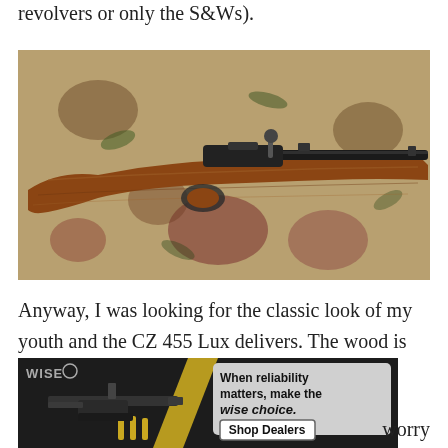revolvers or only the S&Ws).
[Figure (photo): Photo of a bolt-action rifle with wooden stock lying on a floral-patterned rug or fabric background.]
Anyway, I was looking for the classic look of my youth and the CZ 455 Lux delivers. The wood is
[Figure (photo): Advertisement overlay showing a dark tactical rifle with WISE logo, gold chevron accent, and a speech bubble reading 'When reliability matters, make the wise choice.' with a 'Shop Dealers' button.]
tory. I
worry
hen I